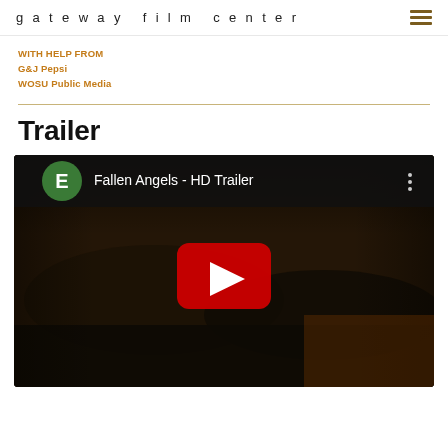gateway film center
WITH HELP FROM
G&J Pepsi
WOSU Public Media
Trailer
[Figure (screenshot): YouTube video embed thumbnail for 'Fallen Angels - HD Trailer' with play button overlay and channel icon 'E']